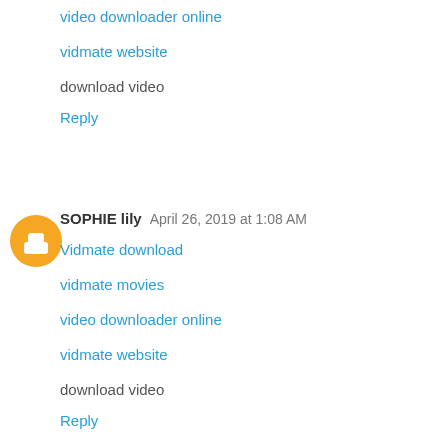video downloader online
vidmate website
download video
Reply
SOPHIE lily   April 26, 2019 at 1:08 AM
Vidmate download
vidmate movies
video downloader online
vidmate website
download video
Reply